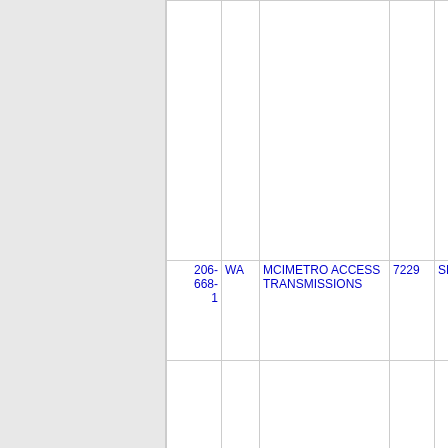| Phone | State | Company | Zip | City |
| --- | --- | --- | --- | --- |
| 206-668-1 | WA | MCIMETRO ACCESS TRANSMISSIONS | 7229 | SEAT |